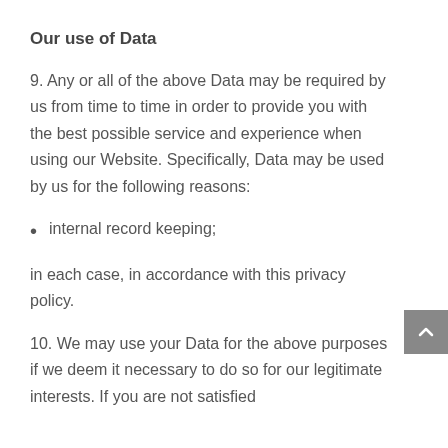Our use of Data
9. Any or all of the above Data may be required by us from time to time in order to provide you with the best possible service and experience when using our Website. Specifically, Data may be used by us for the following reasons:
internal record keeping;
in each case, in accordance with this privacy policy.
10. We may use your Data for the above purposes if we deem it necessary to do so for our legitimate interests. If you are not satisfied